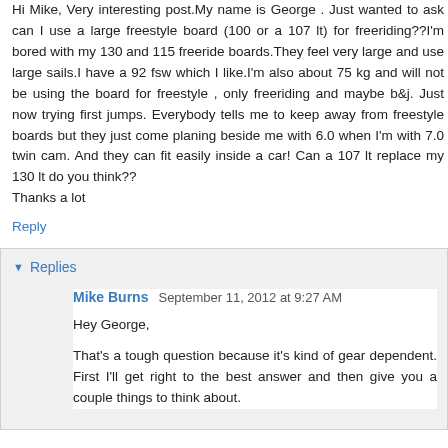Hi Mike, Very interesting post.My name is George . Just wanted to ask can I use a large freestyle board (100 or a 107 lt) for freeriding??I'm bored with my 130 and 115 freeride boards.They feel very large and use large sails.I have a 92 fsw which I like.I'm also about 75 kg and will not be using the board for freestyle , only freeriding and maybe b&j. Just now trying first jumps. Everybody tells me to keep away from freestyle boards but they just come planing beside me with 6.0 when I'm with 7.0 twin cam. And they can fit easily inside a car! Can a 107 lt replace my 130 lt do you think??
Thanks a lot
Reply
Replies
Mike Burns  September 11, 2012 at 9:27 AM
Hey George,

That's a tough question because it's kind of gear dependent. First I'll get right to the best answer and then give you a couple things to think about.